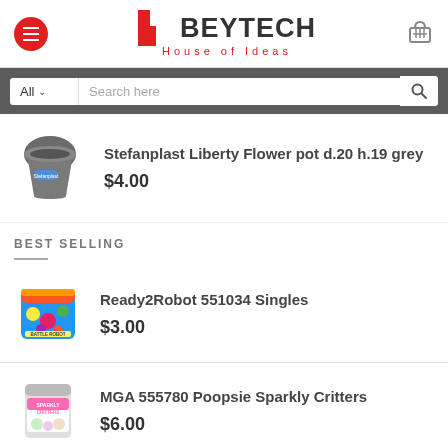[Figure (screenshot): Beytech House of Ideas e-commerce website header with hamburger menu button, logo, and cart icon]
[Figure (screenshot): Search bar with All dropdown, Search here text input, and search icon on dark grey background]
[Figure (photo): Grey Stefanplast Liberty flower pot product image]
Stefanplast Liberty Flower pot d.20 h.19 grey
$4.00
BEST SELLING
[Figure (photo): Ready2Robot 551034 Singles colorful toy product image]
Ready2Robot 551034 Singles
$3.00
[Figure (photo): MGA 555780 Poopsie Sparkly Critters product image, a can with colorful design]
MGA 555780 Poopsie Sparkly Critters
$6.00